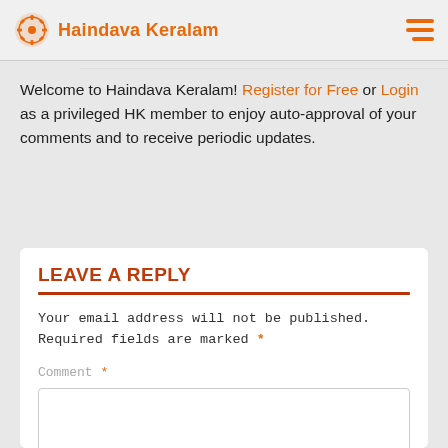Haindava Keralam
Welcome to Haindava Keralam! Register for Free or Login as a privileged HK member to enjoy auto-approval of your comments and to receive periodic updates.
LEAVE A REPLY
Your email address will not be published. Required fields are marked *
Comment *